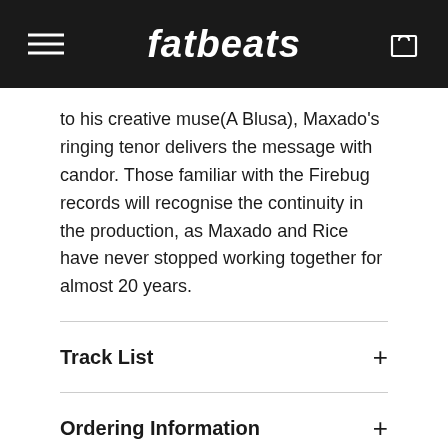fatbeats
to his creative muse(A Blusa), Maxado’s ringing tenor delivers the message with candor. Those familiar with the Firebug records will recognise the continuity in the production, as Maxado and Rice have never stopped working together for almost 20 years.
Track List
Ordering Information